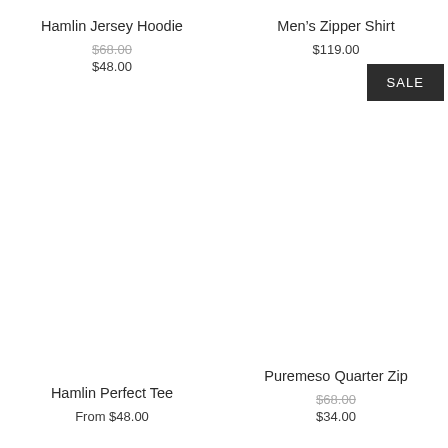Hamlin Jersey Hoodie
$68.00
$48.00
Men’s Zipper Shirt
$119.00
SALE
Hamlin Perfect Tee
From $48.00
Puremeso Quarter Zip
$68.00
$34.00